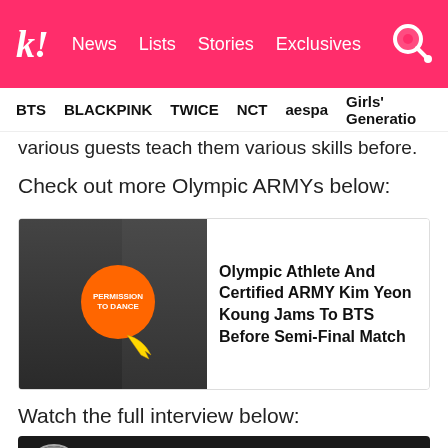k! News  Lists  Stories  Exclusives
BTS  BLACKPINK  TWICE  NCT  aespa  Girls' Generation
various guests teach them various skills before.
Check out more Olympic ARMYs below:
[Figure (photo): Thumbnail image of Olympic athletes with Permission To Dance badge overlay]
Olympic Athlete And Certified ARMY Kim Yeon Koung Jams To BTS Before Semi-Final Match
Watch the full interview below:
[Figure (screenshot): YouTube video embed showing [ENG] with Korean text subtitle and interview footage]